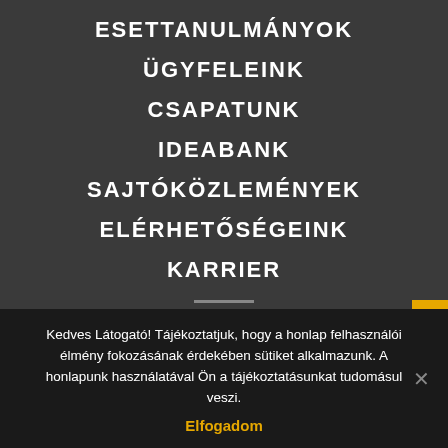ESETTANULMÁNYOK
ÜGYFELEINK
CSAPATUNK
IDEABANK
SAJTÓKÖZLEMÉNYEK
ELÉRHETŐSÉGEINK
KARRIER
[Figure (infographic): Social media icons in circles: Facebook, YouTube, LinkedIn, Instagram, RSS]
Kedves Látogató! Tájékoztatjuk, hogy a honlap felhasználói élmény fokozásának érdekében sütiket alkalmazunk. A honlapunk használatával Ön a tájékoztatásunkat tudomásul veszi.
Elfogadom